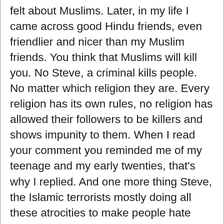felt about Muslims. Later, in my life I came across good Hindu friends, even friendlier and nicer than my Muslim friends. You think that Muslims will kill you. No Steve, a criminal kills people. No matter which religion they are. Every religion has its own rules, no religion has allowed their followers to be killers and shows impunity to them. When I read your comment you reminded me of my teenage and my early twenties, that's why I replied. And one more thing Steve, the Islamic terrorists mostly doing all these atrocities to make people hate Muslims, they purposefully do it so that all others starts hating Muslims. Now, there is a huge difference between Muslims and Islamic terrorists, a terrorists cannot claim that they are Muslims because the Quran doesn't acknowledge unjust murderers like them as Muslims. If people starts to hate Muslims, this will gradually turn into violence on Muslims and non-Muslim sides and it will strengthen their propaganda of gaining support among Muslims by claiming that they are fighting for Muslims and gain